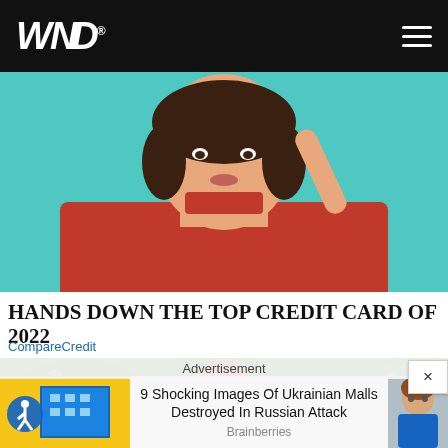WND
[Figure (photo): Young woman with short brown hair wearing a red turtleneck sweater against a turquoise background, photographed from shoulders up with one arm raised]
HANDS DOWN THE TOP CREDIT CARD OF 2022
CompareCredit
[Figure (photo): Decorated red and colorful Easter egg ornament among pink spring blossoms and green foliage]
Advertisement
[Figure (photo): Left: Blue modern mall building with accessibility icon overlay. Right: Portrait of a woman.]
9 Shocking Images Of Ukrainian Malls Destroyed In Russian Attack
Brainberries